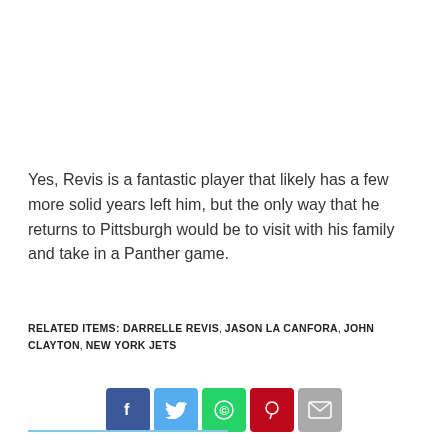Yes, Revis is a fantastic player that likely has a few more solid years left him, but the only way that he returns to Pittsburgh would be to visit with his family and take in a Panther game.
RELATED ITEMS: DARRELLE REVIS, JASON LA CANFORA, JOHN CLAYTON, NEW YORK JETS
[Figure (other): Social sharing buttons: Facebook, Twitter, WhatsApp, Pinterest, Email]